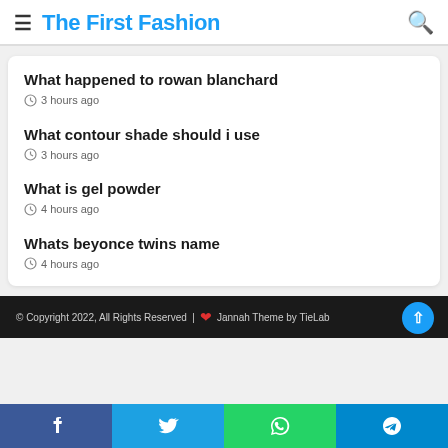The First Fashion
What happened to rowan blanchard
3 hours ago
What contour shade should i use
3 hours ago
What is gel powder
4 hours ago
Whats beyonce twins name
4 hours ago
© Copyright 2022, All Rights Reserved | ❤ Jannah Theme by TieLab